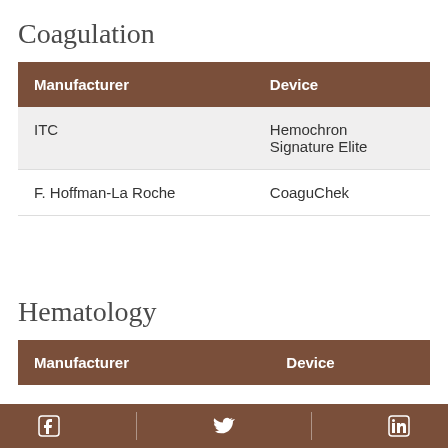Coagulation
| Manufacturer | Device |
| --- | --- |
| ITC | Hemochron Signature Elite |
| F. Hoffman-La Roche | CoaguChek |
Hematology
| Manufacturer | Device |
| --- | --- |
[Facebook icon] | [Twitter icon] | [LinkedIn icon]